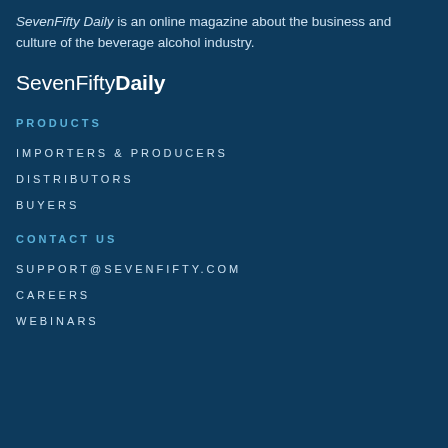SevenFifty Daily is an online magazine about the business and culture of the beverage alcohol industry.
SevenFiftyDaily
PRODUCTS
IMPORTERS & PRODUCERS
DISTRIBUTORS
BUYERS
CONTACT US
SUPPORT@SEVENFIFTY.COM
CAREERS
WEBINARS